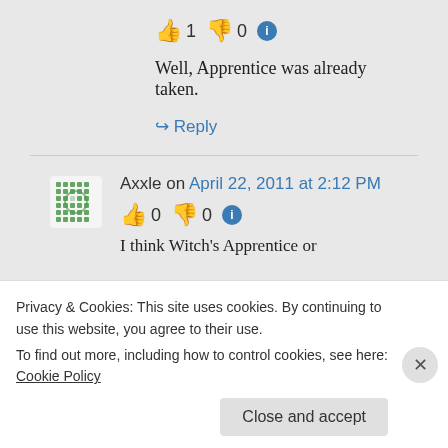👍 1 👎 0 ℹ
Well, Apprentice was already taken.
↪ Reply
Axxle on April 22, 2011 at 2:12 PM
👍 0 👎 0 ℹ
I think Witch's Apprentice or
Privacy & Cookies: This site uses cookies. By continuing to use this website, you agree to their use.
To find out more, including how to control cookies, see here: Cookie Policy
Close and accept